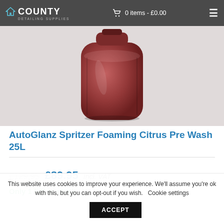County Detailing Supplies — 0 items - £0.00
[Figure (photo): Close-up photo of a dark red/maroon 25L container of AutoGlanz Spritzer Foaming Citrus Pre Wash product, showing the top and upper portion of the bottle]
AutoGlanz Spritzer Foaming Citrus Pre Wash 25L
£129.95  £89.95 Incl. VAT
Only 1 left in stock
This website uses cookies to improve your experience. We'll assume you're ok with this, but you can opt-out if you wish. Cookie settings  ACCEPT